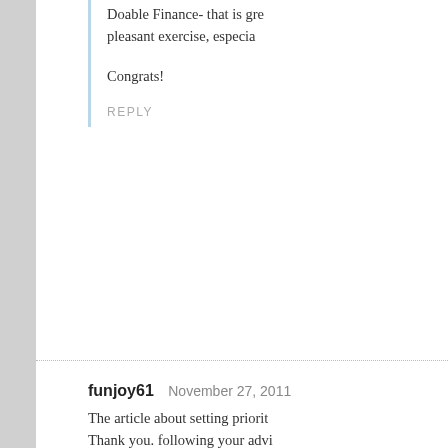Doable Finance- that is gre... pleasant exercise, especia...
Congrats!
REPLY
funjoy61   November 27, 2011
The article about setting priorit... Thank you. following your advi...
REPLY
Leave a Comment